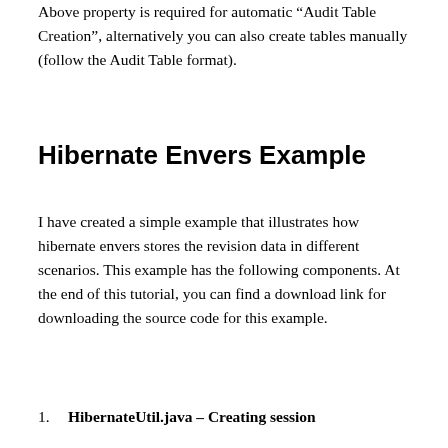Above property is required for automatic “Audit Table Creation”, alternatively you can also create tables manually (follow the Audit Table format).
Hibernate Envers Example
I have created a simple example that illustrates how hibernate envers stores the revision data in different scenarios. This example has the following components. At the end of this tutorial, you can find a download link for downloading the source code for this example.
HibernateUtil.java – Creating session